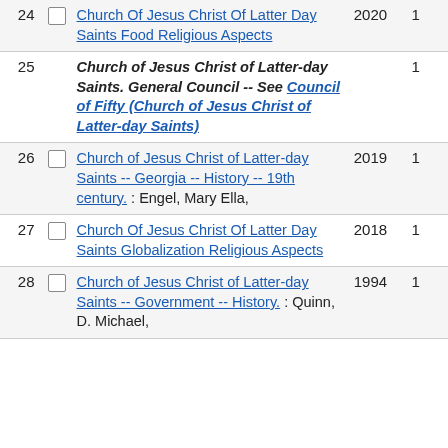| # |  | Description | Year | Count |
| --- | --- | --- | --- | --- |
| 24 |  | Church Of Jesus Christ Of Latter Day Saints Food Religious Aspects | 2020 | 1 |
| 25 |  | Church of Jesus Christ of Latter-day Saints. General Council -- See Council of Fifty (Church of Jesus Christ of Latter-day Saints) |  | 1 |
| 26 |  | Church of Jesus Christ of Latter-day Saints -- Georgia -- History -- 19th century. : Engel, Mary Ella, | 2019 | 1 |
| 27 |  | Church Of Jesus Christ Of Latter Day Saints Globalization Religious Aspects | 2018 | 1 |
| 28 |  | Church of Jesus Christ of Latter-day Saints -- Government -- History. : Quinn, D. Michael, | 1994 | 1 |